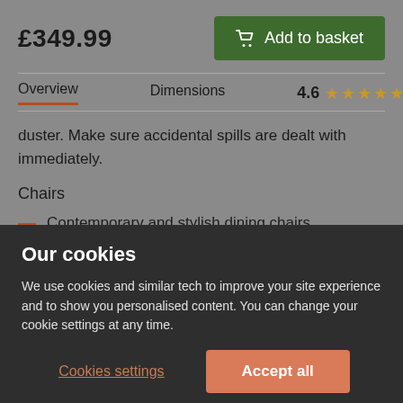£349.99
Add to basket
Overview   Dimensions   4.6 ★★★★★ (15)
duster. Make sure accidental spills are dealt with immediately.
Chairs
Contemporary and stylish dining chairs
Upholstered in soft grey plush fabric
Our cookies
We use cookies and similar tech to improve your site experience and to show you personalised content. You can change your cookie settings at any time.
Cookies settings
Accept all